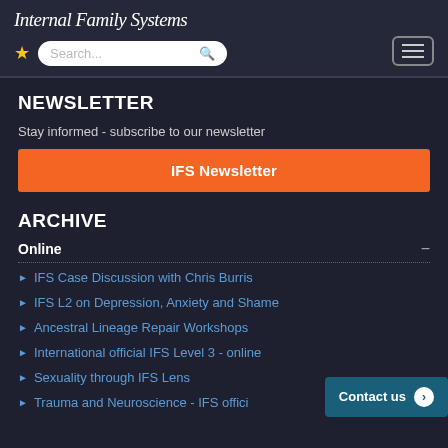InternalFamilySystems — Search bar — Menu
NEWSLETTER
Stay informed - subscribe to our newsletter
IFS Newsletter
ARCHIVE
Online
IFS Case Discussion with Chris Burris
IFS L2 on Depression, Anxiety and Shame
Ancestral Lineage Repair Workshops
International official IFS Level 3 - online
Sexuality through IFS Lens
Trauma and Neuroscience - IFS official
Contact us